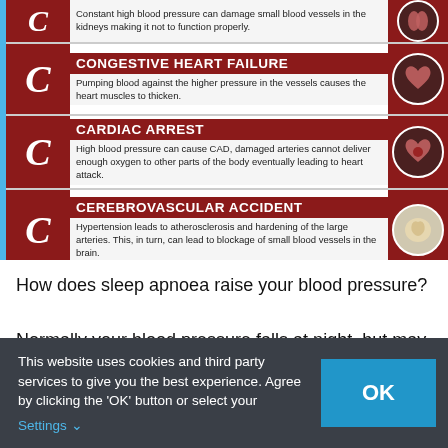[Figure (infographic): Medical infographic showing complications of high blood pressure labeled with letter C. Rows include: partial row about kidney damage, Congestive Heart Failure, Cardiac Arrest, and Cerebrovascular Accident, each with a large italic C, a red header, descriptive text, and an organ image circle.]
How does sleep apnoea raise your blood pressure?
Normally your blood pressure falls at night, but may not if you have sleep apnoea.  Every time your oxygen drops, this causes stress hormone surge that raises your
This website uses cookies and third party services to give you the best experience. Agree by clicking the 'OK' button or select your Settings